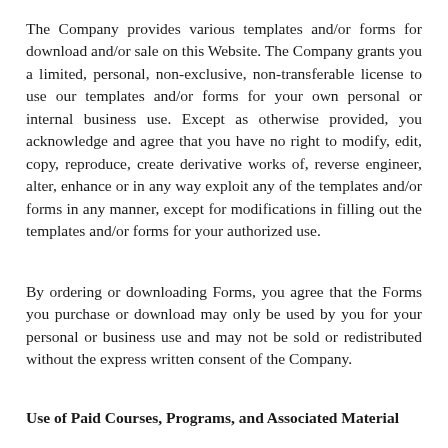The Company provides various templates and/or forms for download and/or sale on this Website. The Company grants you a limited, personal, non-exclusive, non-transferable license to use our templates and/or forms for your own personal or internal business use. Except as otherwise provided, you acknowledge and agree that you have no right to modify, edit, copy, reproduce, create derivative works of, reverse engineer, alter, enhance or in any way exploit any of the templates and/or forms in any manner, except for modifications in filling out the templates and/or forms for your authorized use.
By ordering or downloading Forms, you agree that the Forms you purchase or download may only be used by you for your personal or business use and may not be sold or redistributed without the express written consent of the Company.
Use of Paid Courses, Programs, and Associated Material